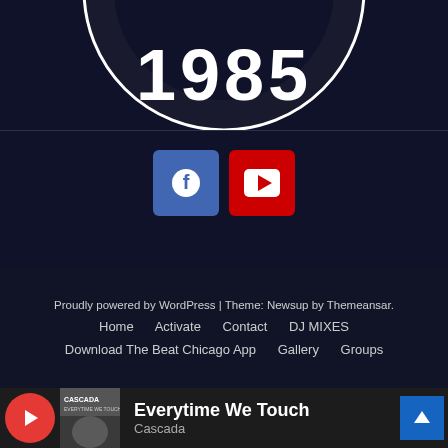[Figure (logo): Circular logo with '1985' text in white on dark background, partially cropped at top]
[Figure (infographic): Social media icons: Facebook (blue square with f logo) and YouTube (red square with play button)]
Proudly powered by WordPress | Theme: Newsup by Themeansar.
Home   Activate   Contact   DJ MIXES
Download The Beat Chicago App   Gallery   Groups
[Figure (screenshot): Music player bar showing album art for Cascada 'Everytime We Touch', red play button on left, scroll-to-top blue button on right]